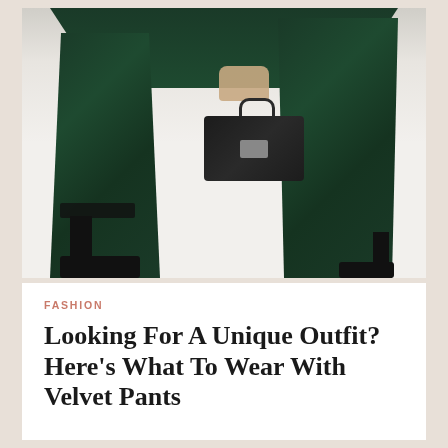[Figure (photo): Fashion photo showing a person from waist down wearing dark green velvet wide-leg pants, black platform high heels, and holding a black crocodile-texture handbag with silver hardware.]
FASHION
Looking For A Unique Outfit? Here’s What To Wear With Velvet Pants